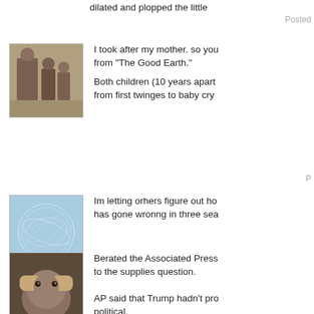dilated and plopped the little
Posted
[Figure (photo): Old family photo of mother and children]
I took after my mother. so you from "The Good Earth."

Both children (10 years apart from first twinges to baby cry
P
[Figure (illustration): Blue abstract swirl pattern avatar]
Im letting orhers figure out ho has gone wronng in three sea
[Figure (photo): Dog covering face with paws]
Berated the Associated Press to the supplies question.

AP said that Trump hadn't pro political.

I pointed out to AP that the Ac contact the Admiral about the